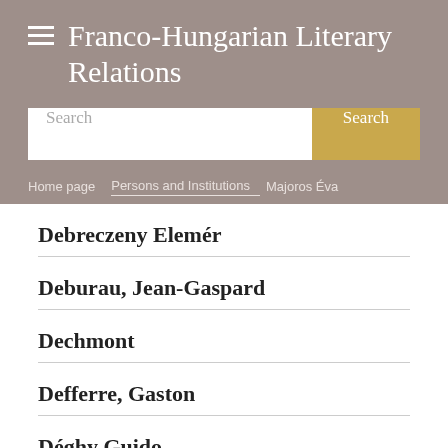Franco-Hungarian Literary Relations
Home page > Persons and Institutions > Majoros Éva
Debreczeny Elemér
Deburau, Jean-Gaspard
Dechmont
Defferre, Gaston
Déghy Guido